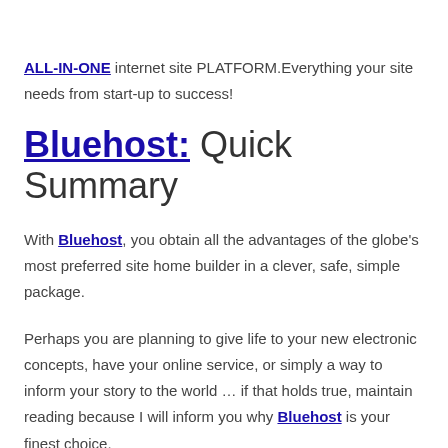ALL-IN-ONE internet site PLATFORM.Everything your site needs from start-up to success!
Bluehost: Quick Summary
With Bluehost, you obtain all the advantages of the globe's most preferred site home builder in a clever, safe, simple package.
Perhaps you are planning to give life to your new electronic concepts, have your online service, or simply a way to inform your story to the world … if that holds true, maintain reading because I will inform you why Bluehost is your finest choice.